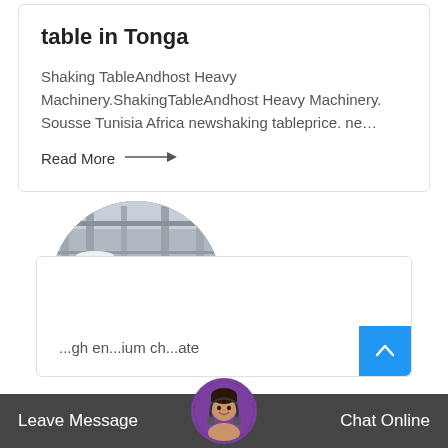table in Tonga
Shaking TableAndhost Heavy Machinery.ShakingTableAndhost Heavy Machinery. Sousse Tunisia Africa newshaking tableprice. ne…
Read More →
[Figure (photo): Circular cropped photo of industrial heavy machinery on a factory floor]
...gh en...ium ch...ate
Leave Message   Chat Online